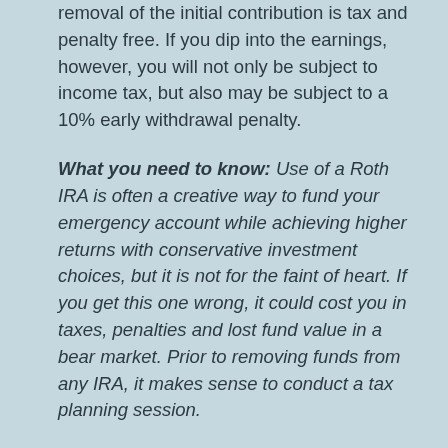removal of the initial contribution is tax and penalty free. If you dip into the earnings, however, you will not only be subject to income tax, but also may be subject to a 10% early withdrawal penalty.
What you need to know: Use of a Roth IRA is often a creative way to fund your emergency account while achieving higher returns with conservative investment choices, but it is not for the faint of heart. If you get this one wrong, it could cost you in taxes, penalties and lost fund value in a bear market. Prior to removing funds from any IRA, it makes sense to conduct a tax planning session.
Please call if you have questions about how to